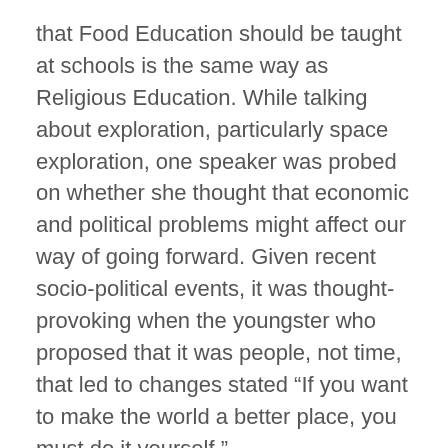that Food Education should be taught at schools is the same way as Religious Education. While talking about exploration, particularly space exploration, one speaker was probed on whether she thought that economic and political problems might affect our way of going forward. Given recent socio-political events, it was thought-provoking when the youngster who proposed that it was people, not time, that led to changes stated “If you want to make the world a better place, you must do it yourself.”
Just a few days after a divisive parliamentary vote on legislation to formally trigger Brexit, one speaker discussed the status of the Labour party under its current leadership, and staying on the political theme another speaker questioned whether referendums